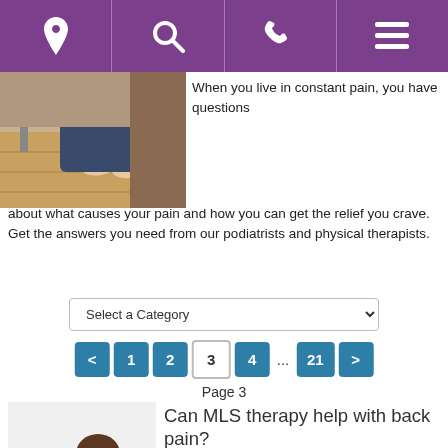Navigation bar with location, search, phone, and menu icons
[Figure (photo): Photo of a medical/therapy office setting showing feet of a patient on a table, with a chair and wooden floor visible]
When you live in constant pain, you have questions about what causes your pain and how you can get the relief you crave. Get the answers you need from our podiatrists and physical therapists.
Select a Category
< 1 2 3 4 ... 21 > Page 3
[Figure (photo): Photo of a woman sitting on the floor near a wall, viewed from behind, wearing a white shirt]
Can MLS therapy help with back pain?
Show Answer ▶
Category: MLS Laser For Physical Therapy